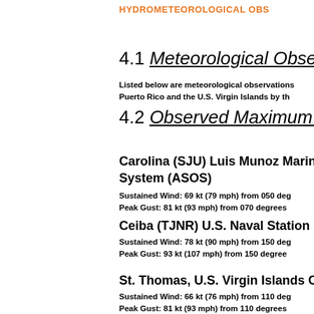HYDROMETEOROLOGICAL OBS
4.1 Meteorological Observ
Listed below are meteorological observations
Puerto Rico and the U.S. Virgin Islands by th
4.2 Observed Maximum W
Carolina (SJU) Luis Munoz Marin
System (ASOS)
Sustained Wind: 69 kt (79 mph) from 050 deg
Peak Gust: 81 kt (93 mph) from 070 degrees
Ceiba (TJNR) U.S. Naval Station
Sustained Wind: 78 kt (90 mph) from 150 deg
Peak Gust: 93 kt (107 mph) from 150 degree
St. Thomas, U.S. Virgin Islands C
Sustained Wind: 66 kt (76 mph) from 110 deg
Peak Gust: 81 kt (93 mph) from 110 degrees